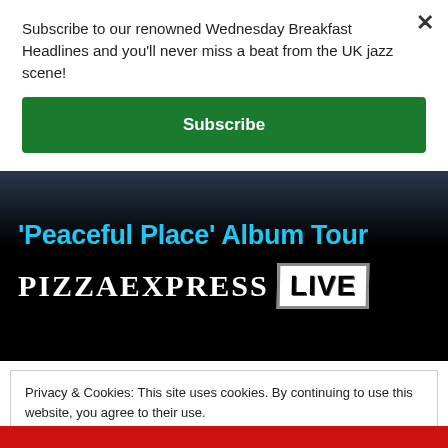Subscribe to our renowned Wednesday Breakfast Headlines and you'll never miss a beat from the UK jazz scene!
Subscribe
[Figure (photo): Promotional banner for 'Peaceful Place' Album Tour at PizzaExpress Live, showing blue text on a dark background with the PizzaExpress Live logo in white and grunge style.]
Privacy & Cookies: This site uses cookies. By continuing to use this website, you agree to their use.
To find out more, including how to control cookies, see here: Cookie Policy
Close and accept